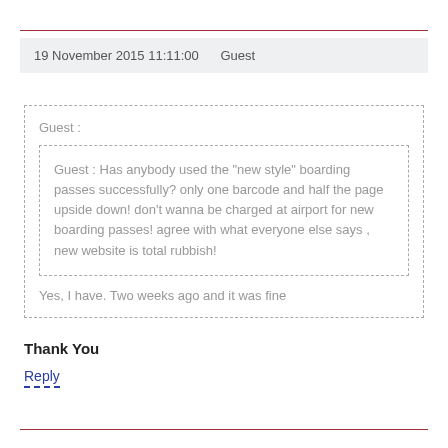19 November 2015 11:11:00    Guest
Guest :
Guest : Has anybody used the "new style" boarding passes successfully? only one barcode and half the page upside down! don't wanna be charged at airport for new boarding passes! agree with what everyone else says , new website is total rubbish!
Yes, I have. Two weeks ago and it was fine
Thank You
Reply